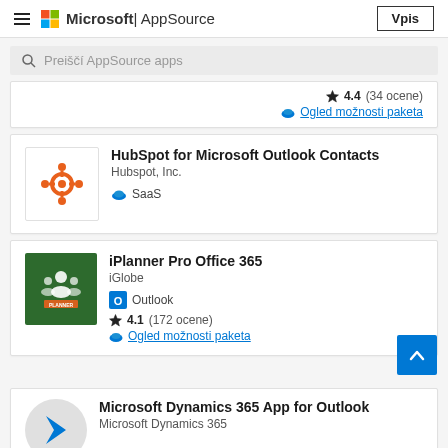Microsoft | AppSource — Vpis
Preiščí AppSource apps
★ 4.4 (34 ocene)
Ogled možnosti paketa
HubSpot for Microsoft Outlook Contacts
Hubspot, Inc.
☁ SaaS
iPlanner Pro Office 365
iGlobe
Outlook
★ 4.1 (172 ocene)
Ogled možnosti paketa
Microsoft Dynamics 365 App for Outlook
Microsoft Dynamics 365